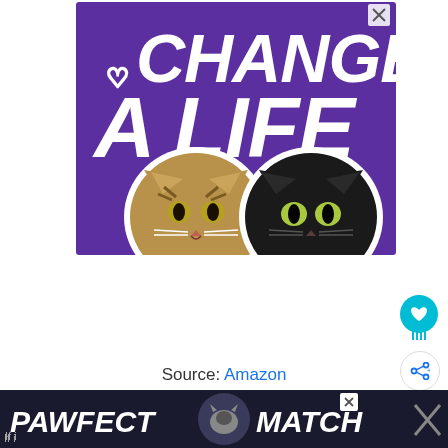[Figure (illustration): Advertisement banner with purple background showing bold white text 'CHANGE A LIFE' with a small heart outline icon, and two cat faces (a tabby cat and a black cat) with white sticker-style outlines at the bottom. A small 'X' close button is in the top right corner.]
Source: Amazon
[Figure (illustration): Dark advertisement banner at the bottom reading 'PAWFECT MATCH' with a cat silhouette logo in the center, partially visible. An X close button is on the right side.]